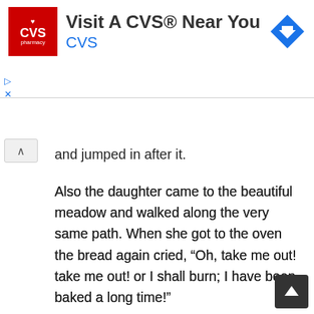[Figure (other): CVS Pharmacy advertisement banner with red CVS logo, text 'Visit A CVS® Near You', blue 'CVS' subtitle, and a blue diamond-shaped direction arrow icon on the right.]
and jumped in after it.
Also the daughter came to the beautiful meadow and walked along the very same path. When she got to the oven the bread again cried, “Oh, take me out! take me out! or I shall burn; I have been baked a long time!”
The lazy girl answered, “Do you really think I will get dirty for you?” and on she went.
Soon she came to the appletree, which cried, “Oh,